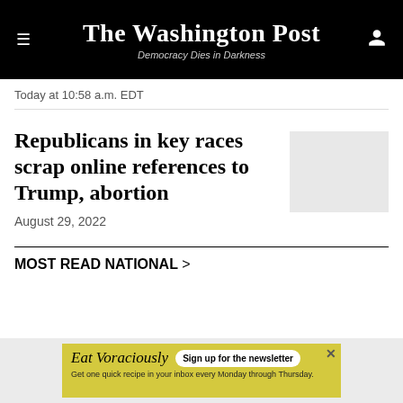The Washington Post — Democracy Dies in Darkness
Today at 10:58 a.m. EDT
Republicans in key races scrap online references to Trump, abortion
August 29, 2022
MOST READ NATIONAL
[Figure (other): Advertisement banner: Eat Voraciously newsletter sign-up. Yellow background with text 'Eat Voraciously', 'Sign up for the newsletter', 'Get one quick recipe in your inbox every Monday through Thursday.']